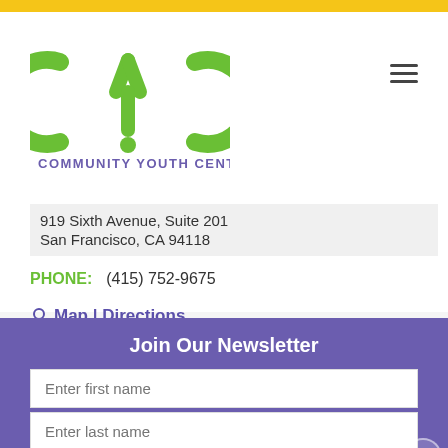[Figure (logo): CYC Community Youth Center logo - green CYC letters with purple 'Community Youth Center' text below]
919 Sixth Avenue, Suite 201
San Francisco, CA 94118
PHONE: (415) 752-9675
Map | Directions
Join Our Newsletter
Enter first name
Enter last name
Enter your email
Subscribe